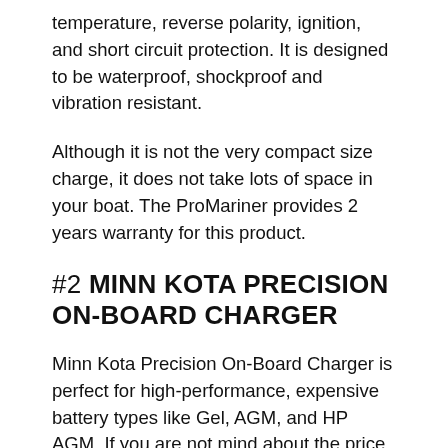temperature, reverse polarity, ignition, and short circuit protection. It is designed to be waterproof, shockproof and vibration resistant.
Although it is not the very compact size charge, it does not take lots of space in your boat. The ProMariner provides 2 years warranty for this product.
#2 MINN KOTA PRECISION ON-BOARD CHARGER
Minn Kota Precision On-Board Charger is perfect for high-performance, expensive battery types like Gel, AGM, and HP AGM. If you are not mind about the price tag, this charger from Minn Kota will run well and offer the great performance over the